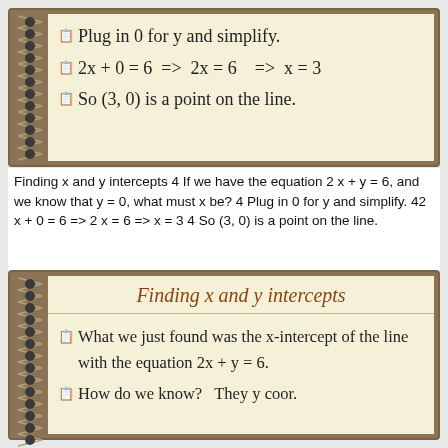Plug in 0 for y and simplify.
2x + 0 = 6  =>  2x = 6    =>   x = 3
So (3, 0) is a point on the line.
Finding x and y intercepts 4 If we have the equation 2 x + y = 6, and we know that y = 0, what must x be? 4 Plug in 0 for y and simplify. 42 x + 0 = 6 => 2 x = 6 => x = 3 4 So (3, 0) is a point on the line.
Finding x and y intercepts
What we just found was the x-intercept of the line with the equation 2x + y = 6.
How do we know?  They y coor.